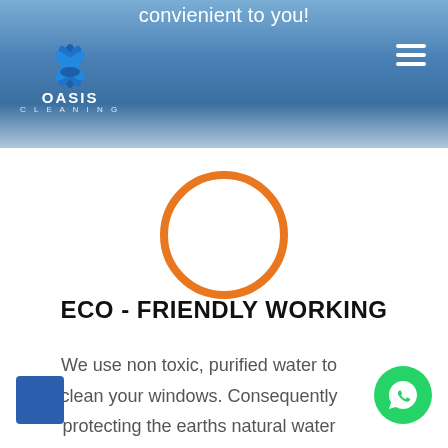convienient to you!
[Figure (logo): Oasis Cleaning logo with blue lotus flower icon and white text]
[Figure (illustration): Orange circle outline icon, empty inside]
ECO - FRIENDLY WORKING
We use non toxic, purified water to clean your windows. Consequently protecting the earths natural water cycle from contaminates.
[Figure (illustration): Green WhatsApp button with phone icon]